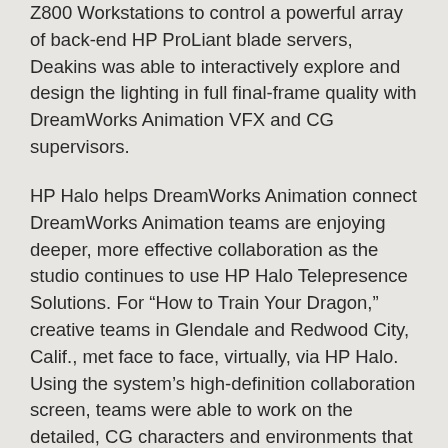Z800 Workstations to control a powerful array of back-end HP ProLiant blade servers, Deakins was able to interactively explore and design the lighting in full final-frame quality with DreamWorks Animation VFX and CG supervisors.
HP Halo helps DreamWorks Animation connect
DreamWorks Animation teams are enjoying deeper, more effective collaboration as the studio continues to use HP Halo Telepresence Solutions. For “How to Train Your Dragon,” creative teams in Glendale and Redwood City, Calif., met face to face, virtually, via HP Halo. Using the system’s high-definition collaboration screen, teams were able to work on the detailed, CG characters and environments that bring the film to life.
In particular, HP Halo was an instrumental part of